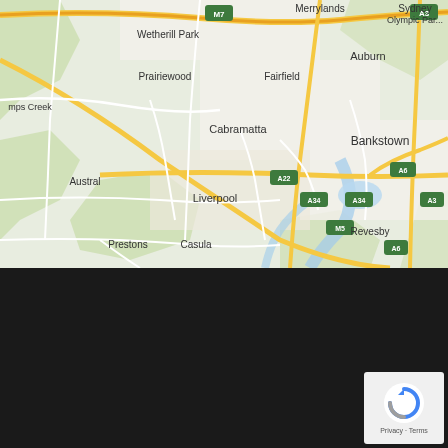[Figure (map): Google Maps view of south-western Sydney suburbs including Wetherill Park, Prairiewood, Fairfield, Cabramatta, Liverpool, Bankstown, Revesby, Prestons, Casula, Austral, Merrylands, Auburn, and surrounding areas with road network shown]
SITEMAP
Home
Services
Pest Control Areas
Termite Control Areas